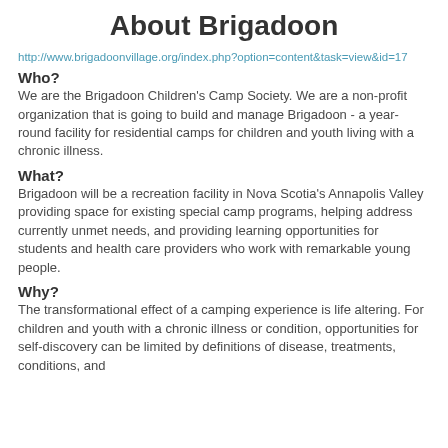About Brigadoon
http://www.brigadoonvillage.org/index.php?option=content&task=view&id=17
Who?
We are the Brigadoon Children's Camp Society. We are a non-profit organization that is going to build and manage Brigadoon - a year-round facility for residential camps for children and youth living with a chronic illness.
What?
Brigadoon will be a recreation facility in Nova Scotia's Annapolis Valley providing space for existing special camp programs, helping address currently unmet needs, and providing learning opportunities for students and health care providers who work with remarkable young people.
Why?
The transformational effect of a camping experience is life altering. For children and youth with a chronic illness or condition, opportunities for self-discovery can be limited by definitions of disease, treatments, conditions, and...